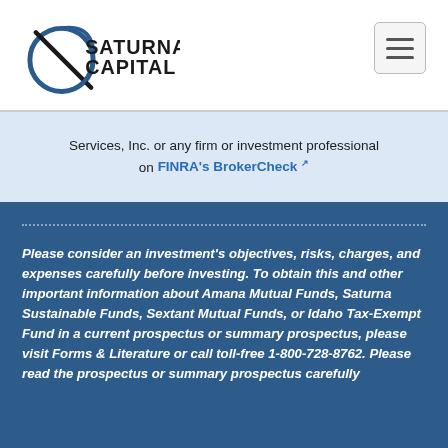[Figure (logo): Saturna Capital logo with circular swoosh graphic and text]
Services, Inc. or any firm or investment professional on FINRA's BrokerCheck [external link]
Please consider an investment's objectives, risks, charges, and expenses carefully before investing. To obtain this and other important information about Amana Mutual Funds, Saturna Sustainable Funds, Sextant Mutual Funds, or Idaho Tax-Exempt Fund in a current prospectus or summary prospectus, please visit Forms & Literature or call toll-free 1-800-728-8762. Please read the prospectus or summary prospectus carefully